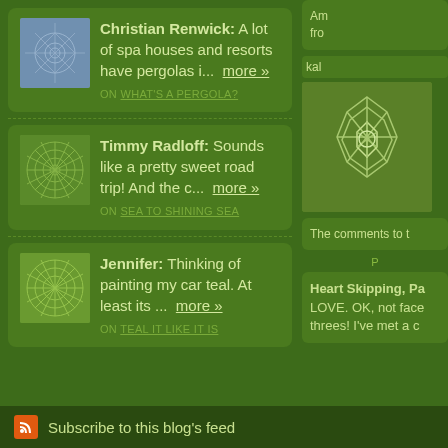Christian Renwick: A lot of spa houses and resorts have pergolas i... more » ON WHAT'S A PERGOLA?
Timmy Radloff: Sounds like a pretty sweet road trip! And the c... more » ON SEA TO SHINING SEA
Jennifer: Thinking of painting my car teal. At least its ... more » ON TEAL IT LIKE IT IS
Am from
kal
The comments to t
P
Heart Skipping, Pa LOVE. OK, not face threes! I've met a c
Subscribe to this blog's feed